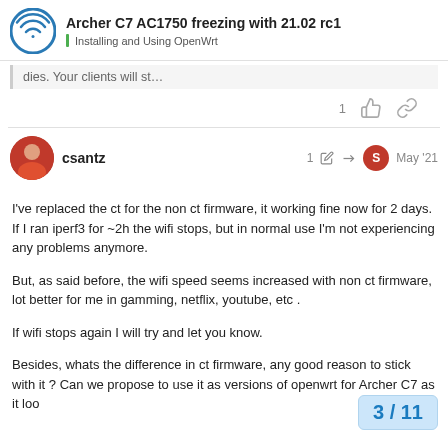Archer C7 AC1750 freezing with 21.02 rc1 — Installing and Using OpenWrt
dies. Your clients will st…
1 [like] [link]
csantz   1 [edit] [reply] S   May '21
I've replaced the ct for the non ct firmware, it working fine now for 2 days. If I ran iperf3 for ~2h the wifi stops, but in normal use I'm not experiencing any problems anymore.

But, as said before, the wifi speed seems increased with non ct firmware, lot better for me in gamming, netflix, youtube, etc .

If wifi stops again I will try and let you know.

Besides, whats the difference in ct firmware, any good reason to stick with it ? Can we propose to use it as versions of openwrt for Archer C7 as it loo